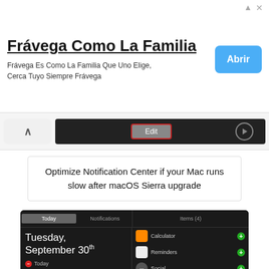[Figure (screenshot): Advertisement banner for Frávega with title 'Frávega Como La Familia', subtitle 'Frávega Es Como La Familia Que Uno Elige, Cerca Tuyo Siempre Frávega', and a blue 'Abrir' button]
[Figure (screenshot): Dark toolbar with a chevron up button, an Edit button highlighted with red border, and a play button]
Optimize Notification Center if your Mac runs slow after macOS Sierra upgrade
[Figure (screenshot): macOS Notification Center screenshot showing Today tab with date Tuesday September 30th, weather info, Stocks with NASDAQ 4,492.87 -0.29%, and right panel showing Items (4): Calculator, Reminders, Social, World Clock each with green plus buttons]